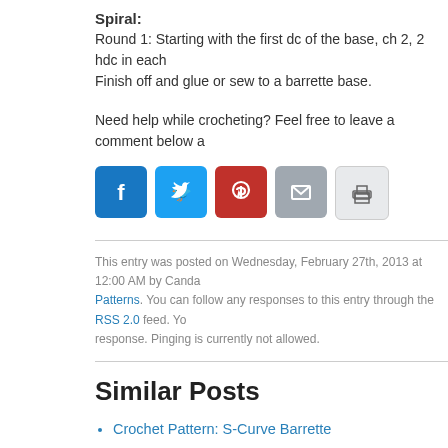Spiral:
Round 1: Starting with the first dc of the base, ch 2, 2 hdc in each Finish off and glue or sew to a barrette base.
Need help while crocheting? Feel free to leave a comment below a
[Figure (infographic): Row of social media share buttons: Facebook (blue), Twitter (light blue), Pinterest (red), Email (gray), Print (light gray)]
This entry was posted on Wednesday, February 27th, 2013 at 12:00 AM by Canda Patterns. You can follow any responses to this entry through the RSS 2.0 feed. Yo response. Pinging is currently not allowed.
Similar Posts
Crochet Pattern: S-Curve Barrette
Crochet Pattern: Spiral Flower
Crochet Pattern: Lace Flower Barrette
Crochet Pattern: Spiral Coaster
Crochet Pattern: Spiral Bracelet